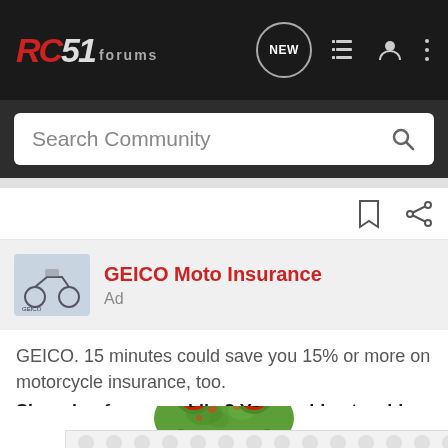RC51 FORUMS
Search Community
[Figure (screenshot): GEICO Moto Insurance ad card with thumbnail image and 'Ad' label]
GEICO Moto Insurance
Ad
GEICO. 15 minutes could save you 15% or more on motorcycle insurance, too.
Shopping for a new bike? You could get a shiny, new quote & see how much you could save.
[Figure (photo): GEICO gecko frog peeking over a patterned background with circular spots]